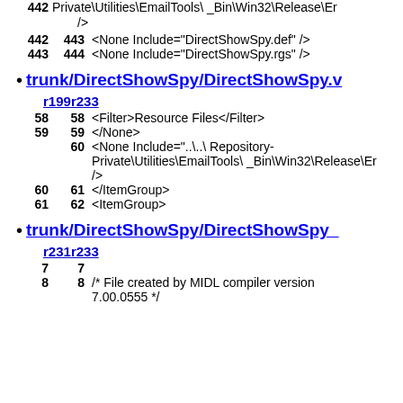442   Private\Utilities\EmailTools\_Bin\Win32\Release\Er
/>
442 443    <None Include="DirectShowSpy.def" />
443 444    <None Include="DirectShowSpy.rgs" />
trunk/DirectShowSpy/DirectShowSpy.v
r199 r233
58  58     <Filter>Resource Files</Filter>
59  59     </None>
     60    <None Include="..\..\Repository-Private\Utilities\EmailTools\_Bin\Win32\Release\Er
/>
60  61     </ItemGroup>
61  62     <ItemGroup>
trunk/DirectShowSpy/DirectShowSpy_
r231 r233
7   7
8   8     /* File created by MIDL compiler version 7.00.0555 */